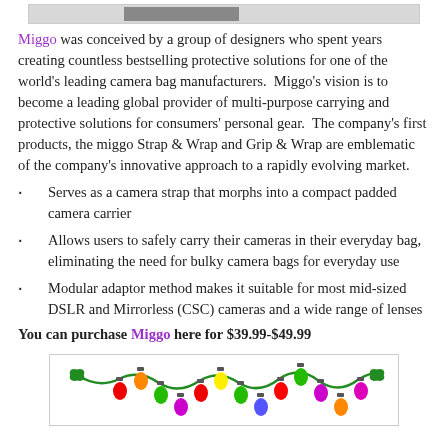[Figure (photo): Cropped top of a product image, partial view]
Miggo was conceived by a group of designers who spent years creating countless bestselling protective solutions for one of the world's leading camera bag manufacturers.  Miggo's vision is to become a leading global provider of multi-purpose carrying and protective solutions for consumers' personal gear.  The company's first products, the miggo Strap & Wrap and Grip & Wrap are emblematic of the company's innovative approach to a rapidly evolving market.
Serves as a camera strap that morphs into a compact padded camera carrier
Allows users to safely carry their cameras in their everyday bag, eliminating the need for bulky camera bags for everyday use
Modular adaptor method makes it suitable for most mid-sized DSLR and Mirrorless (CSC) cameras and a wide range of lenses
You can purchase Miggo here for $39.99-$49.99
[Figure (illustration): Christmas lights decoration illustration — colorful bulbs on a green string with bows on each end]